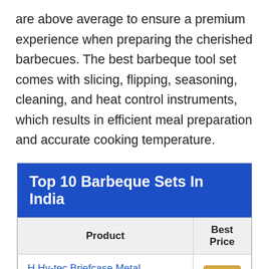are above average to ensure a premium experience when preparing the cherished barbecues. The best barbeque tool set comes with slicing, flipping, seasoning, cleaning, and heat control instruments, which results in efficient meal preparation and accurate cooking temperature.
| Product | Best Price |
| --- | --- |
| H Hy-tec Briefcase Metal Barbecue | Buy on |